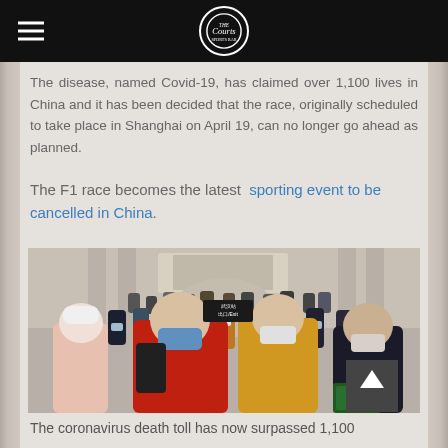The Courts Sports Bar (logo)
The disease, named Covid-19, has claimed over 1,100 lives in China and it has been decided that the race, originally scheduled to take place in Shanghai on April 19, can no longer go ahead as planned.
The F1 race becomes the latest sporting event to be cancelled in China.
[Figure (photo): A crowd of people wearing face masks walking through a large train station or public hall in China. In the foreground, a young man in a red jacket and blue face mask is prominent. Others in the crowd wear various colored masks and winter coats. A scroll-to-top arrow button is visible in the lower right corner of the image.]
The coronavirus death toll has now surpassed 1,100